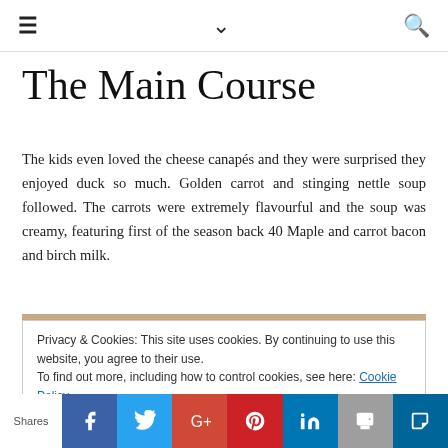≡  ∨  🔍
The Main Course
The kids even loved the cheese canapés and they were surprised they enjoyed duck so much. Golden carrot and stinging nettle soup followed. The carrots were extremely flavourful and the soup was creamy, featuring first of the season back 40 Maple and carrot bacon and birch milk.
[Figure (photo): Partial photo with warm brown/tan tones, partially obscured by cookie notice overlay]
Privacy & Cookies: This site uses cookies. By continuing to use this website, you agree to their use.
To find out more, including how to control cookies, see here: Cookie Policy
Shares | Facebook | Twitter | Google+ | Pinterest | LinkedIn | Print | Other